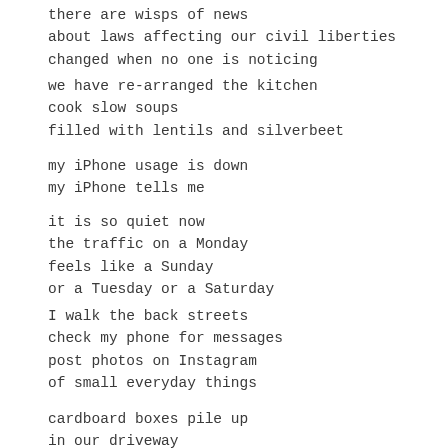there are wisps of news
about laws affecting our civil liberties
changed when no one is noticing
we have re-arranged the kitchen
cook slow soups
filled with lentils and silverbeet
my iPhone usage is down
my iPhone tells me
it is so quiet now
the traffic on a Monday
feels like a Sunday
or a Tuesday or a Saturday
I walk the back streets
check my phone for messages
post photos on Instagram
of small everyday things
cardboard boxes pile up
in our driveway